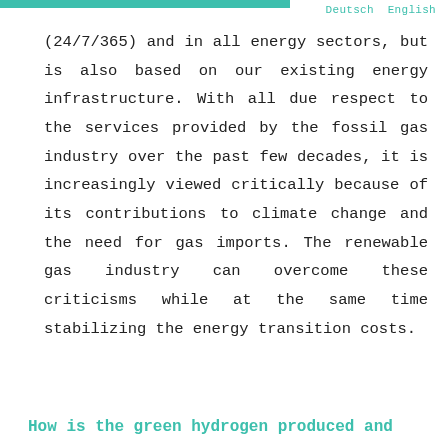Deutsch  English
(24/7/365) and in all energy sectors, but is also based on our existing energy infrastructure. With all due respect to the services provided by the fossil gas industry over the past few decades, it is increasingly viewed critically because of its contributions to climate change and the need for gas imports. The renewable gas industry can overcome these criticisms while at the same time stabilizing the energy transition costs.
How is the green hydrogen produced and